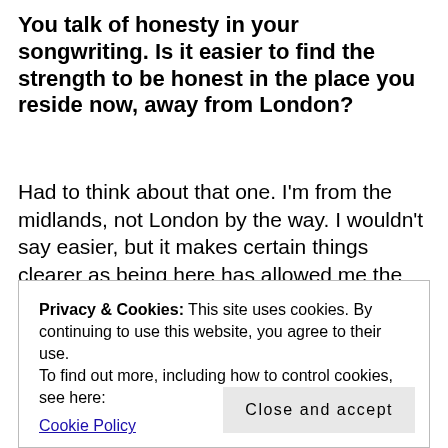You talk of honesty in your songwriting. Is it easier to find the strength to be honest in the place you reside now, away from London?
Had to think about that one. I'm from the midlands, not London by the way. I wouldn't say easier, but it makes certain things clearer as being here has allowed me the time to breathe a bit better and look at things with even more introspection and objectivity, but I don't really write about certain specific external events. I'm more interested in
Privacy & Cookies: This site uses cookies. By continuing to use this website, you agree to their use.
To find out more, including how to control cookies, see here:
Cookie Policy
Close and accept